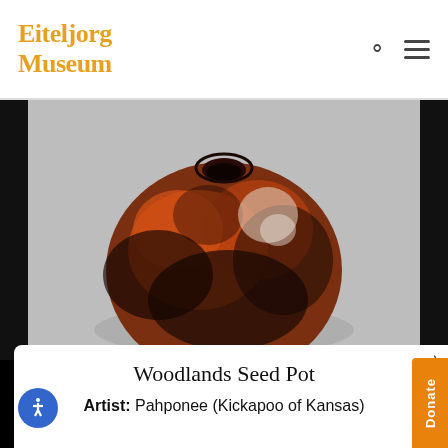Eiteljorg Museum
[Figure (photo): A ceramic seed pot with dark brown, orange, and black mottled glaze, photographed against a gray background. The pot has a rounded body with a small opening at the top.]
Woodlands Seed Pot
Artist: Pahponee (Kickapoo of Kansas)